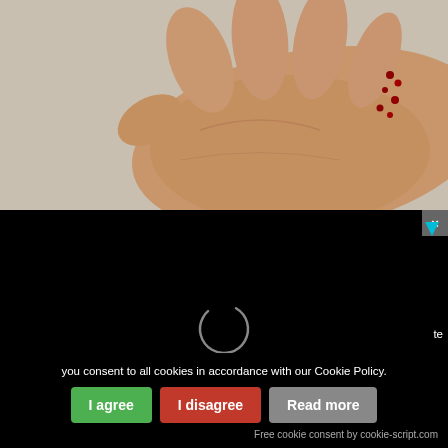[Figure (photo): A human hand (palm facing up) with what appears to be small red berries or blood drops near the fingers, held against a light gray background.]
[Figure (screenshot): A black video player area with a circular loading spinner in the center, a close (X) button in the top right corner, and a blue downward-pointing triangle icon near the top right.]
te
you consent to all cookies in accordance with our Cookie Policy.
I agree
I disagree
Read more
Free cookie consent by cookie-script.com